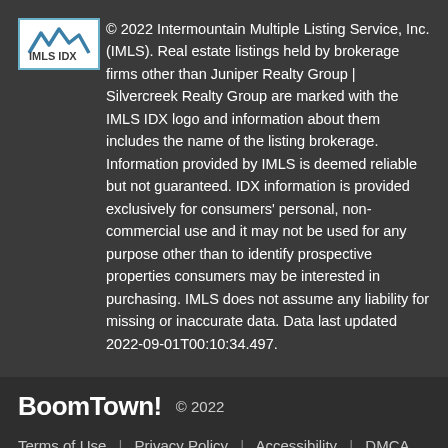© 2022 Intermountain Multiple Listing Service, Inc. (IMLS). Real estate listings held by brokerage firms other than Juniper Realty Group | Silvercreek Realty Group are marked with the IMLS IDX logo and information about them includes the name of the listing brokerage. Information provided by IMLS is deemed reliable but not guaranteed. IDX information is provided exclusively for consumers' personal, non-commercial use and it may not be used for any purpose other than to identify prospective properties consumers may be interested in purchasing. IMLS does not assume any liability for missing or inaccurate data. Data last updated 2022-09-01T00:10:34.497.
BoomTown! © 2022 | Terms of Use | Privacy Policy | Accessibility | DMCA | Listings Sitemap
Take a Tour
Ask A Question